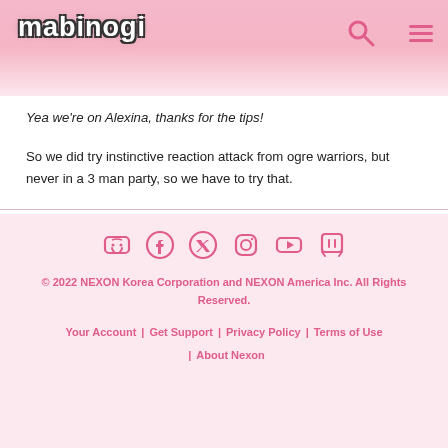Mabinogi
Yea we're on Alexina, thanks for the tips!
So we did try instinctive reaction attack from ogre warriors, but never in a 3 man party, so we have to try that.
< 1 2 >
© 2022 NEXON Korea Corporation and NEXON America Inc. All Rights Reserved. | Your Account | Get Support | Privacy Policy | Terms of Use | About Nexon